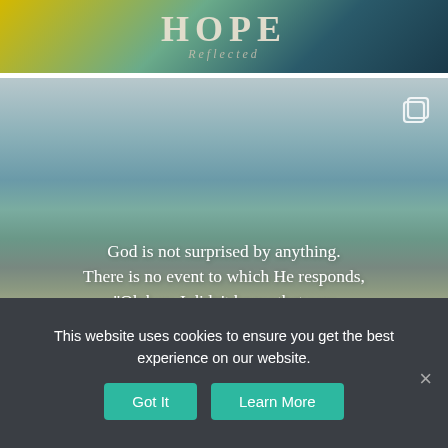[Figure (photo): Top portion of a social media post with flowers and 'HOPE Reflected' text overlay on a dark floral background]
[Figure (photo): Ocean/beach scene with overcast sky and teal-gray water, with overlaid white serif quote text reading: God is not surprised by anything. There is no event to which He responds, "Oh boy, I didn't know that was going to happen."]
This website uses cookies to ensure you get the best experience on our website.
Got It
Learn More